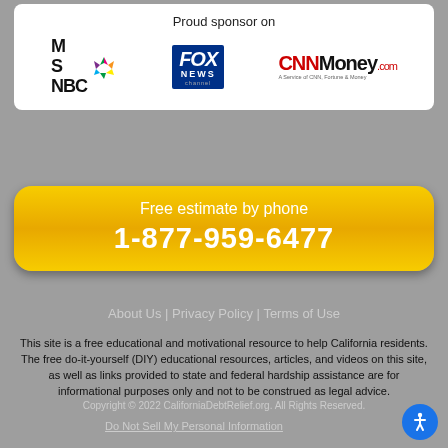Proud sponsor on
[Figure (logo): MSNBC logo with peacock icon, Fox News Channel logo, CNNMoney.com logo]
Free estimate by phone
1-877-959-6477
About Us | Privacy Policy | Terms of Use
This site is a free educational and motivational resource to help California residents. The free do-it-yourself (DIY) educational resources, articles, and videos on this site, as well as links provided to state and federal hardship assistance are for informational purposes only and not to be construed as legal advice.
Copyright © 2022 CaliforniaDebtRelief.org. All Rights Reserved.
Do Not Sell My Personal Information